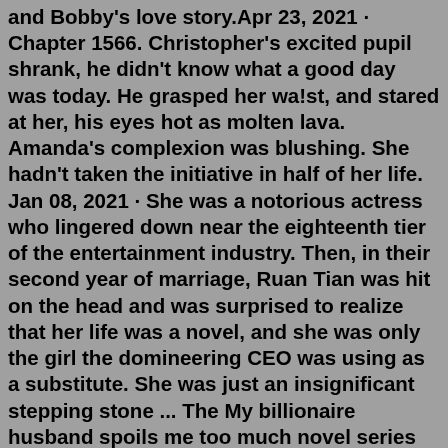and Bobby's love story.Apr 23, 2021 · Chapter 1566. Christopher's excited pupil shrank, he didn't know what a good day was today. He grasped her wa!st, and stared at her, his eyes hot as molten lava. Amanda's complexion was blushing. She hadn't taken the initiative in half of her life. Jan 08, 2021 · She was a notorious actress who lingered down near the eighteenth tier of the entertainment industry. Then, in their second year of marriage, Ruan Tian was hit on the head and was surprised to realize that her life was a novel, and she was only the girl the domineering CEO was using as a substitute. She was just an insignificant stepping stone ... The My billionaire husband spoils me too much novel series of has updated the latest chapter Chapter 117. At Chapter 117, the male and female characters are still at the peak of their problems. The series My billionaire husband spoils me too much Chapter 117 is a very good novel, attracting readers. "It's too much—too much!" she cried. For a few moments their words and